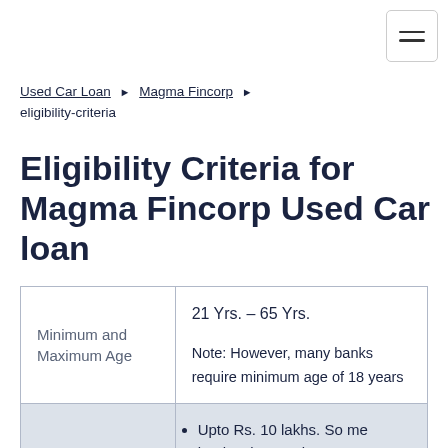Used Car Loan ▶ Magma Fincorp ▶ eligibility-criteria
Eligibility Criteria for Magma Fincorp Used Car loan
|  |  |
| --- | --- |
| Minimum and Maximum Age | 21 Yrs. – 65 Yrs.

Note: However, many banks require minimum age of 18 years |
|  | Upto Rs. 10 lakhs. So me banks give maxim |